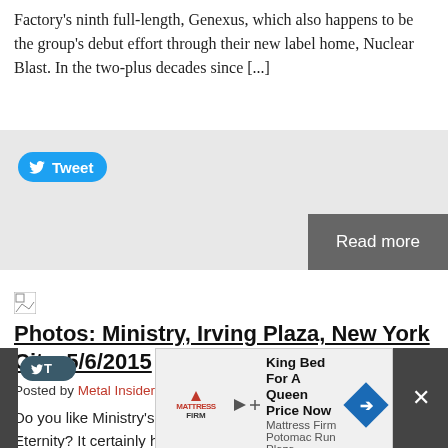Factory's ninth full-length, Genexus, which also happens to be the group's debut effort through their new label home, Nuclear Blast. In the two-plus decades since [...]
[Figure (screenshot): Twitter Tweet button (blue rounded rectangle with bird icon) and a grey 'Read more' button on the right]
[Figure (photo): Broken image icon placeholder]
Photos: Ministry, Irving Plaza, New York City, 5/6/2015
Posted by Metal Insider on May 7, 2015
Do you like Ministry's most recent album, From Beer to Eternity? It certainly helps to if you're headed to the band's current tour, as they're playing the album in its entirety. A little more than a week into the tour for the album, the show hit New York City's Irving Plaza last night. As noted, [...]
[Figure (screenshot): Bottom ad bar: Twitter tweet button on dark background, advertisement for Mattress Firm Potomac Run Plaza 'King Bed For A Queen Price Now', blue diamond arrow, and close X button]